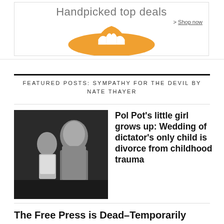[Figure (other): Advertisement banner: 'Handpicked top deals' with orange flame logo and 'Shop now' link]
FEATURED POSTS: SYMPATHY FOR THE DEVIL BY NATE THAYER
[Figure (photo): Black and white photo of Pol Pot holding a young child]
Pol Pot's little girl grows up: Wedding of dictator's only child is divorce from childhood trauma
The Free Press is Dead–Temporarily